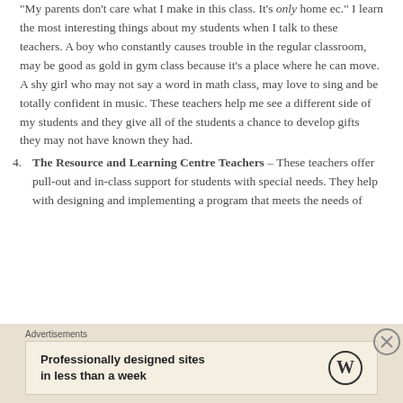“My parents don’t care what I make in this class. It’s only home ec.” I learn the most interesting things about my students when I talk to these teachers. A boy who constantly causes trouble in the regular classroom, may be good as gold in gym class because it’s a place where he can move. A shy girl who may not say a word in math class, may love to sing and be totally confident in music. These teachers help me see a different side of my students and they give all of the students a chance to develop gifts they may not have known they had.
4. The Resource and Learning Centre Teachers – These teachers offer pull-out and in-class support for students with special needs. They help with designing and implementing a program that meets the needs of
[Figure (other): Advertisement banner: 'Professionally designed sites in less than a week' with WordPress logo]